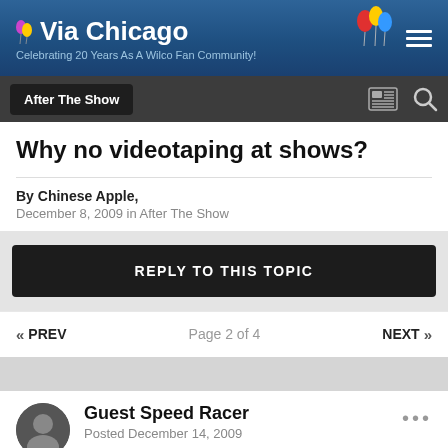Via Chicago — Celebrating 20 Years As A Wilco Fan Community!
After The Show
Why no videotaping at shows?
By Chinese Apple,
December 8, 2009 in After The Show
REPLY TO THIS TOPIC
« PREV   Page 2 of 4   NEXT »
Guest Speed Racer
Posted December 14, 2009